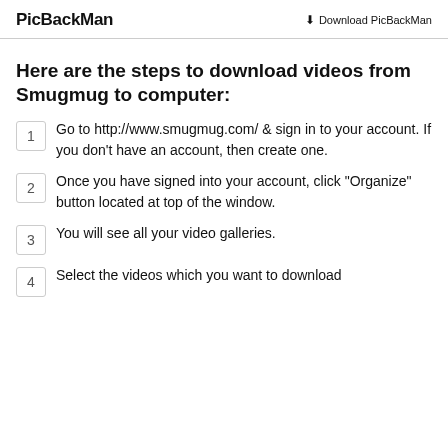PicBackMan    ⬇ Download PicBackMan
Here are the steps to download videos from Smugmug to computer:
1  Go to http://www.smugmug.com/ & sign in to your account. If you don't have an account, then create one.
2  Once you have signed into your account, click "Organize" button located at top of the window.
3  You will see all your video galleries.
4  Select the videos which you want to download